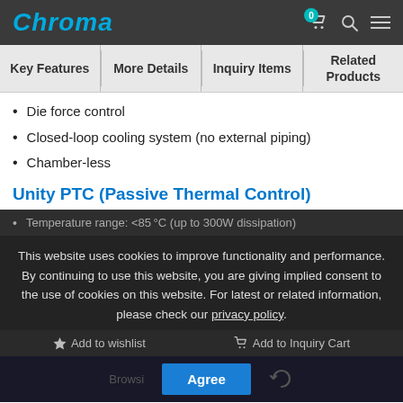Chroma
Key Features | More Details | Inquiry Items | Related Products
Die force control
Closed-loop cooling system (no external piping)
Chamber-less
Unity PTC (Passive Thermal Control)
Temperature range: <85°C (up to 300W dissipation)
This website uses cookies to improve functionality and performance. By continuing to use this website, you are giving implied consent to the use of cookies on this website. For latest or related information, please check our privacy policy.
Add to wishlist    Add to Inquiry Cart
Agree